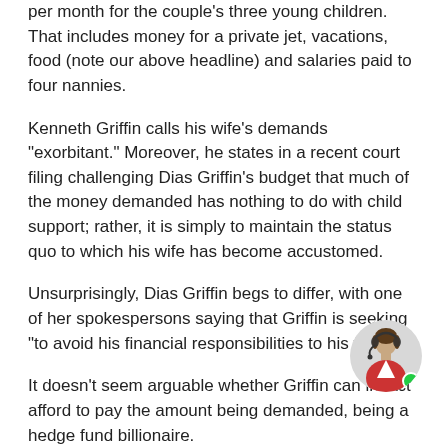per month for the couple's three young children. That includes money for a private jet, vacations, food (note our above headline) and salaries paid to four nannies.
Kenneth Griffin calls his wife's demands "exorbitant." Moreover, he states in a recent court filing challenging Dias Griffin's budget that much of the money demanded has nothing to do with child support; rather, it is simply to maintain the status quo to which his wife has become accustomed.
Unsurprisingly, Dias Griffin begs to differ, with one of her spokespersons saying that Griffin is seeking "to avoid his financial responsibilities to his family."
It doesn't seem arguable whether Griffin can in fact afford to pay the amount being demanded, being a hedge fund billionaire.
That status doesn't dissuade him from expressing
[Figure (photo): Chat support widget with a woman wearing a headset, with a green online indicator dot]